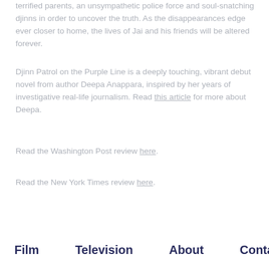terrified parents, an unsympathetic police force and soul-snatching djinns in order to uncover the truth. As the disappearances edge ever closer to home, the lives of Jai and his friends will be altered forever.
Djinn Patrol on the Purple Line is a deeply touching, vibrant debut novel from author Deepa Anappara, inspired by her years of investigative real-life journalism. Read this article for more about Deepa.
Read the Washington Post review here.
Read the New York Times review here.
Film   Television   About   Contact